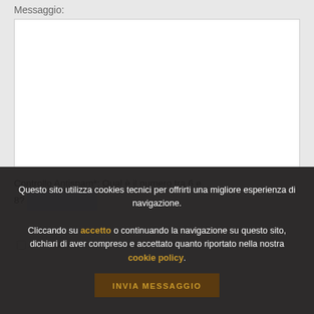Messaggio:
[Figure (other): Empty white textarea input box for message]
Controllo Antispam*: Qual è il numero tra 6 e 8?
[Figure (other): Light blue text input field for antispam answer]
Accettazione al trattamento dei dati personali
INVIA MESSAGGIO
Questo sito utilizza cookies tecnici per offrirti una migliore esperienza di navigazione. Cliccando su accetto o continuando la navigazione su questo sito, dichiari di aver compreso e accettato quanto riportato nella nostra cookie policy.